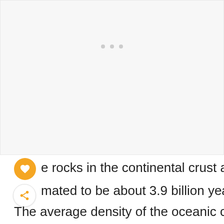[Figure (other): Light gray rectangular area representing an image placeholder with three small dots near the top center]
e rocks in the continental crust are
mated to be about 3.9 billion years old.
The average density of the oceanic crust is
3g/cm while the average density of the